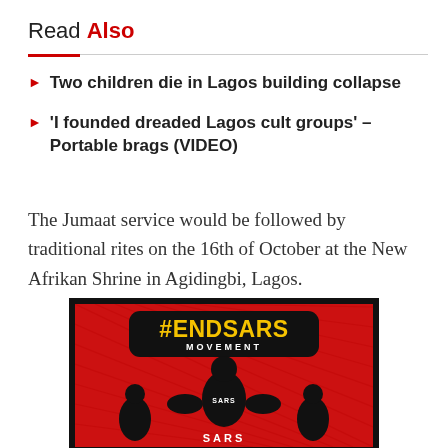Read Also
Two children die in Lagos building collapse
'I founded dreaded Lagos cult groups' – Portable brags (VIDEO)
The Jumaat service would be followed by traditional rites on the 16th of October at the New Afrikan Shrine in Agidingbi, Lagos.
[Figure (illustration): #ENDSARS MOVEMENT poster with a silhouette figure wearing a SARS vest, on a red background with black banner]